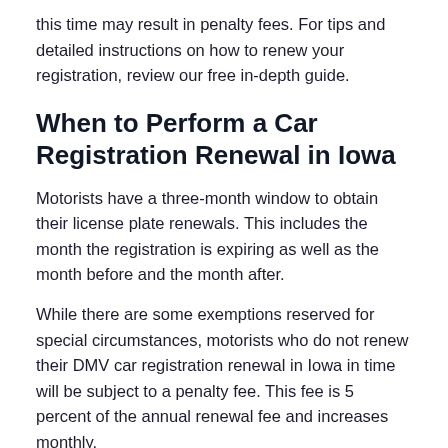this time may result in penalty fees. For tips and detailed instructions on how to renew your registration, review our free in-depth guide.
When to Perform a Car Registration Renewal in Iowa
Motorists have a three-month window to obtain their license plate renewals. This includes the month the registration is expiring as well as the month before and the month after.
While there are some exemptions reserved for special circumstances, motorists who do not renew their DMV car registration renewal in Iowa in time will be subject to a penalty fee. This fee is 5 percent of the annual renewal fee and increases monthly.